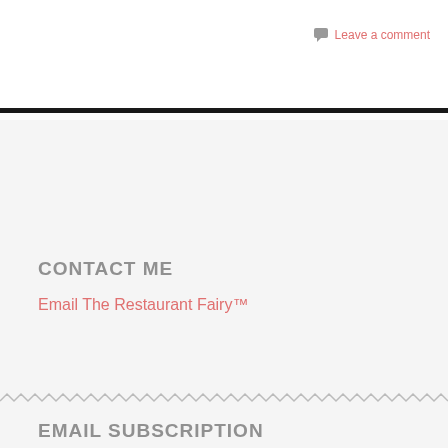Leave a comment
CONTACT ME
Email The Restaurant Fairy™
EMAIL SUBSCRIPTION
Enter your email address
Sign me up!